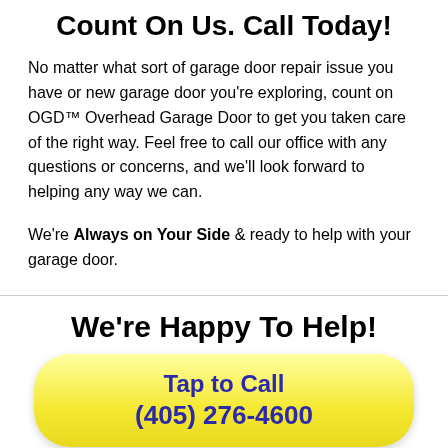Count On Us. Call Today!
No matter what sort of garage door repair issue you have or new garage door you're exploring, count on OGD™ Overhead Garage Door to get you taken care of the right way. Feel free to call our office with any questions or concerns, and we'll look forward to helping any way we can.
We're Always on Your Side & ready to help with your garage door.
We're Happy To Help!
Tap to Call
(405) 276-4600
Call Today